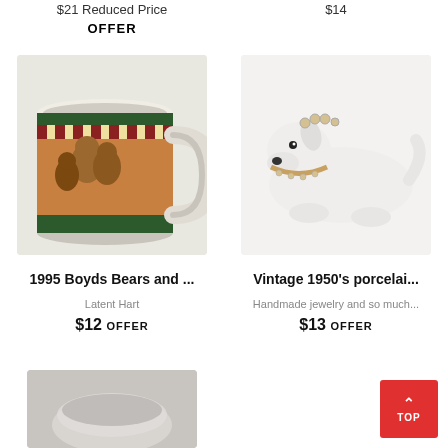$21 Reduced Price OFFER
$14
[Figure (photo): 1995 Boyds Bears decorative coffee mug with bear characters illustration]
[Figure (photo): Vintage 1950s white porcelain dog figurine with jeweled collar and crown, lying down]
1995 Boyds Bears and ...
Latent Hart
$12 OFFER
Vintage 1950's porcelai...
Handmade jewelry and so much...
$13 OFFER
[Figure (photo): Partial view of a silver/metallic decorative item at bottom left]
TOP